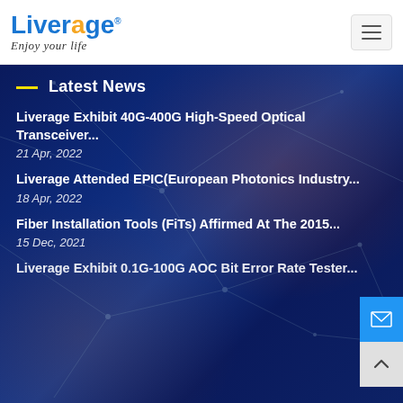[Figure (logo): Liverage logo with tagline 'Enjoy your life']
— Latest News
Liverage Exhibit 40G-400G High-Speed Optical Transceiver...
21 Apr, 2022
Liverage Attended EPIC(European Photonics Industry...
18 Apr, 2022
Fiber Installation Tools (FiTs) Affirmed At The 2015...
15 Dec, 2021
Liverage Exhibit 0.1G-100G AOC Bit Error Rate Tester...